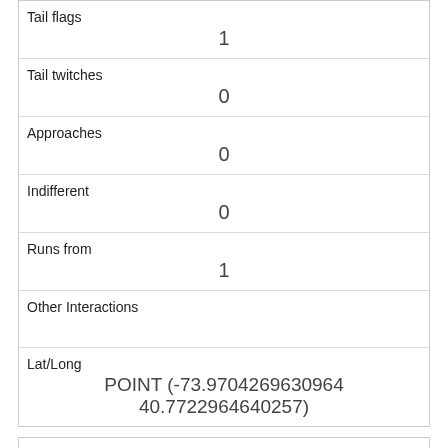| Tail flags | 1 |
| Tail twitches | 0 |
| Approaches | 0 |
| Indifferent | 0 |
| Runs from | 1 |
| Other Interactions |  |
| Lat/Long | POINT (-73.9704269630964 40.7722964640257) |
| rowid | 1035 |
| longitude | -73.97725699096729 |
| latitude | 40.7664804797448 |